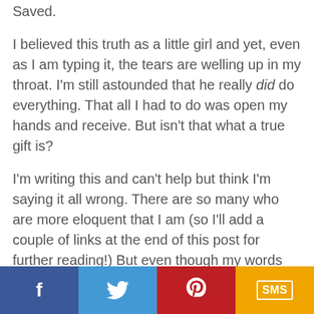Saved.
I believed this truth as a little girl and yet, even as I am typing it, the tears are welling up in my throat. I'm still astounded that he really did do everything. That all I had to do was open my hands and receive. But isn't that what a true gift is?
I'm writing this and can't help but think I'm saying it all wrong. There are so many who are more eloquent that I am (so I'll add a couple of links at the end of this post for further reading!) But even though my words stutter across the screen, I have to say something. I can't just write about my little gifts when I've been given the ultimate gift. Jesus truly changed my life. He has given me hope and peace and life. My gifts are nothing compared to that f...